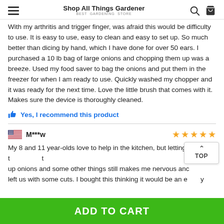Shop All Things Gardener — BEST GARDENING STORE
With my arthritis and trigger finger, was afraid this would be difficulty to use. It is easy to use, easy to clean and easy to set up. So much better than dicing by hand, which I have done for over 50 ears. I purchased a 10 lb bag of large onions and chopping them up was a breeze. Used my food saver to bag the onions and put them in the freezer for when I am ready to use. Quickly washed my chopper and it was ready for the next time. Love the little brush that comes with it. Makes sure the device is thoroughly cleaned.
Yes, I recommend this product
M***w — 5 stars
My 8 and 11 year-olds love to help in the kitchen, but letting t... up onions and some other things still makes me nervous and... left us with some cuts. I bought this thinking it would be an e... y
ADD TO CART